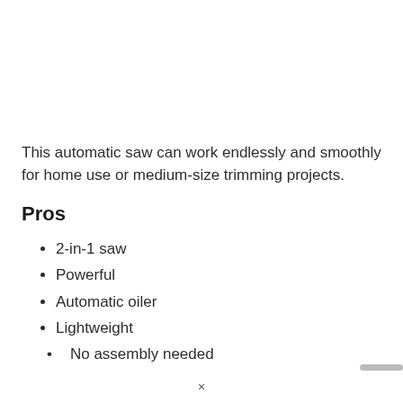This automatic saw can work endlessly and smoothly for home use or medium-size trimming projects.
Pros
2-in-1 saw
Powerful
Automatic oiler
Lightweight
No assembly needed